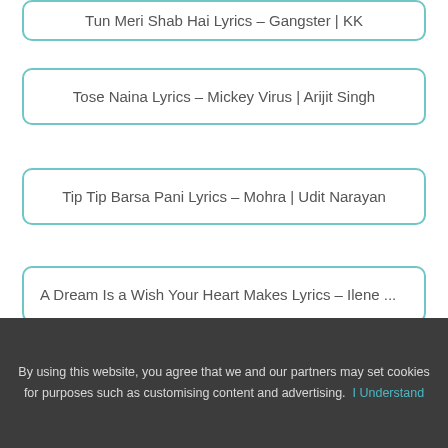Tun Meri Shab Hai Lyrics – Gangster | KK
Tose Naina Lyrics – Mickey Virus | Arijit Singh
Tip Tip Barsa Pani Lyrics – Mohra | Udit Narayan
A Dream Is a Wish Your Heart Makes Lyrics – Ilene ...
By using this website, you agree that we and our partners may set cookies for purposes such as customising content and advertising. I Understand